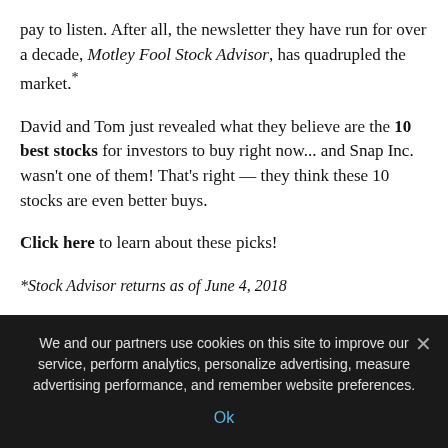pay to listen. After all, the newsletter they have run for over a decade, Motley Fool Stock Advisor, has quadrupled the market.*
David and Tom just revealed what they believe are the 10 best stocks for investors to buy right now... and Snap Inc. wasn't one of them! That's right — they think these 10 stocks are even better buys.
Click here to learn about these picks!
*Stock Advisor returns as of June 4, 2018
John Mackey, CEO of Whole Foods Market, an Amazon subsidiary, is a member of The Motley Fool's board of directors...
We and our partners use cookies on this site to improve our service, perform analytics, personalize advertising, measure advertising performance, and remember website preferences.